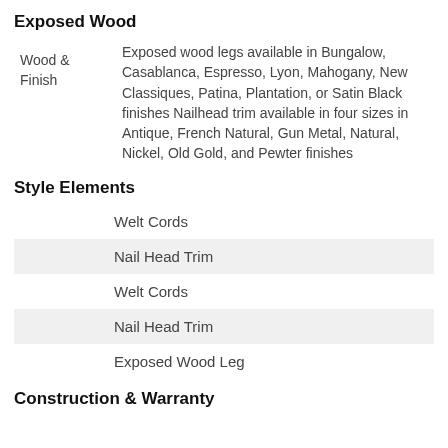Exposed Wood
| Wood &
Finish | Exposed wood legs available in Bungalow, Casablanca, Espresso, Lyon, Mahogany, New Classiques, Patina, Plantation, or Satin Black finishes Nailhead trim available in four sizes in Antique, French Natural, Gun Metal, Natural, Nickel, Old Gold, and Pewter finishes |
Style Elements
| Welt Cords |
| Nail Head Trim |
| Welt Cords |
| Nail Head Trim |
| Exposed Wood Leg |
Construction & Warranty